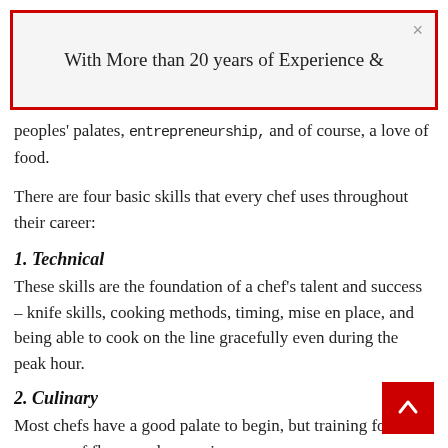With More than 20 years of Experience &
peoples' palates, entrepreneurship, and of course, a love of food.
There are four basic skills that every chef uses throughout their career:
1. Technical
These skills are the foundation of a chef's talent and success – knife skills, cooking methods, timing, mise en place, and being able to cook on the line gracefully even during the peak hour.
2. Culinary
Most chefs have a good palate to begin, but training for the nuances of flavor and seasoning, new flavor combinations, creating plates, and...